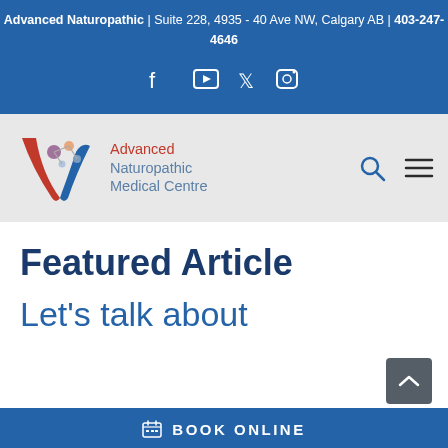Advanced Naturopathic | Suite 228, 4935 - 40 Ave NW, Calgary AB | 403-247-4646
[Figure (logo): Social media icons: Facebook, YouTube, Twitter, Instagram on blue background]
[Figure (logo): Advanced Naturopathic Medical Centre logo with stylized V shape and molecule graphic]
Featured Article
Let's talk about
BOOK ONLINE